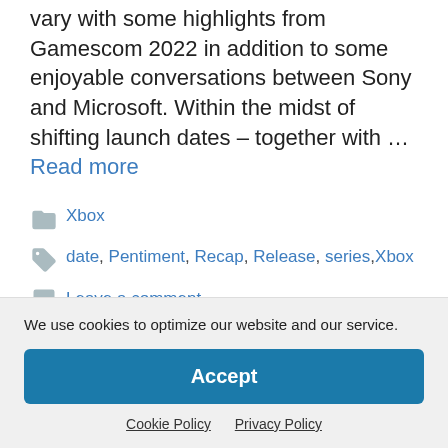vary with some highlights from Gamescom 2022 in addition to some enjoyable conversations between Sony and Microsoft. Within the midst of shifting launch dates – together with … Read more
Categories: Xbox
Tags: date, Pentiment, Recap, Release, series, Xbox
Leave a comment
We use cookies to optimize our website and our service.
Accept
Cookie Policy  Privacy Policy